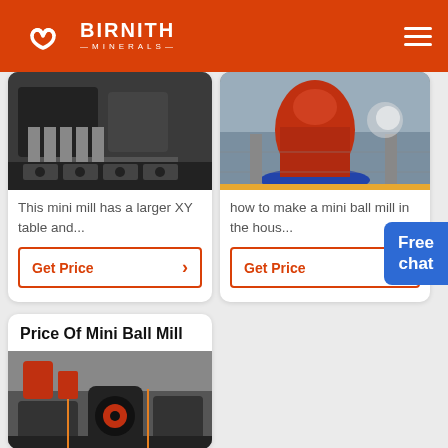BIRNITH MINERALS
[Figure (photo): Industrial crusher machine, dark industrial equipment on pallets]
This mini mill has a larger XY table and...
Get Price
[Figure (photo): Red cone crusher machine in a factory setting]
how to make a mini ball mill in the hous...
Get Price
Free chat
Price Of Mini Ball Mill
[Figure (photo): Industrial ball mill equipment in a factory]